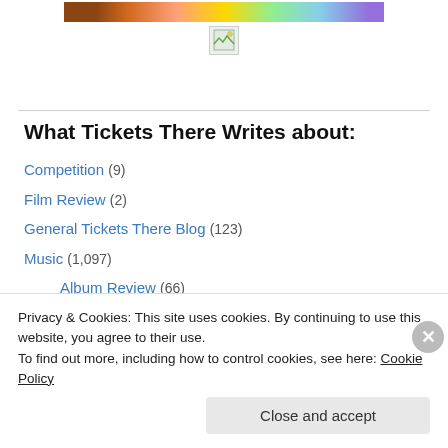[Figure (photo): Banner image strip at the top of the page with colorful photo collage]
[Figure (illustration): Small placeholder/broken image icon below the banner]
What Tickets There Writes about:
Competition (9)
Film Review (2)
General Tickets There Blog (123)
Music (1,097)
Album Review (66)
EP Review (20)
Festival News (11)
Gig Listing (225)
Privacy & Cookies: This site uses cookies. By continuing to use this website, you agree to their use.
To find out more, including how to control cookies, see here: Cookie Policy